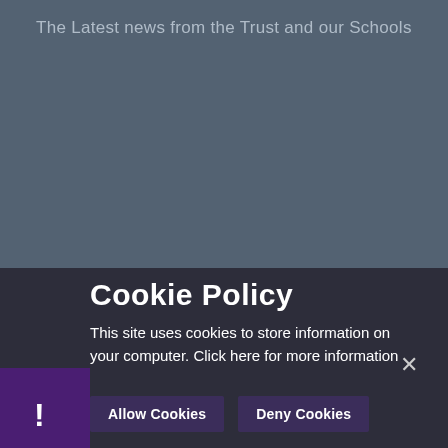The Latest news from the Trust and our Schools
Cookie Policy
This site uses cookies to store information on your computer. Click here for more information
Allow Cookies
Deny Cookies